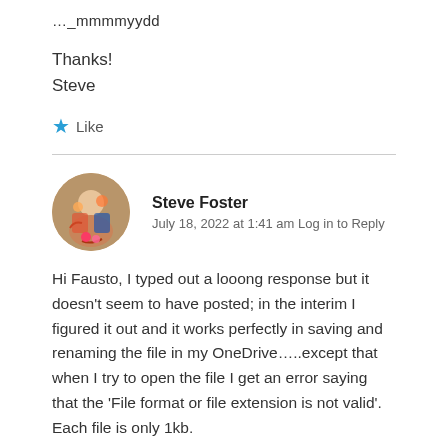…_mmmmyydd
Thanks!
Steve
★ Like
Steve Foster
July 18, 2022 at 1:41 am Log in to Reply
Hi Fausto, I typed out a looong response but it doesn't seem to have posted; in the interim I figured it out and it works perfectly in saving and renaming the file in my OneDrive…..except that when I try to open the file I get an error saying that the 'File format or file extension is not valid'. Each file is only 1kb.